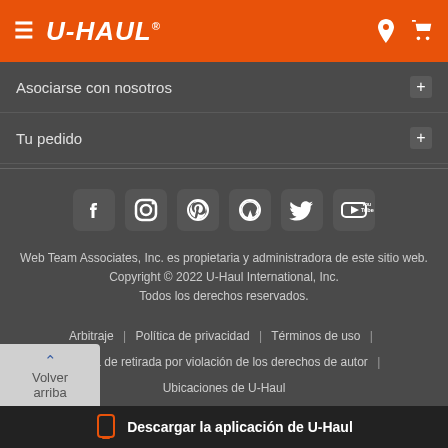≡ U-HAUL®
Asociarse con nosotros +
Tu pedido +
[Figure (illustration): Social media icons row: Facebook, Instagram, Pinterest, WordPress, Twitter, YouTube]
Web Team Associates, Inc. es propietaria y administradora de este sitio web. Copyright © 2022 U-Haul International, Inc. Todos los derechos reservados.
Arbitraje | Política de privacidad | Términos de uso | Política de retirada por violación de los derechos de autor | Ubicaciones de U-Haul
01 - uhaul.com (TODO) YAML - 08.24.2022 a las 15.14 - desde 1.411.0b
Volver arriba
Descargar la aplicación de U-Haul